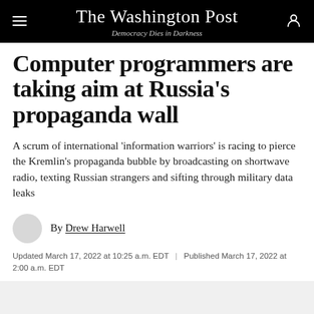The Washington Post — Democracy Dies in Darkness
Computer programmers are taking aim at Russia's propaganda wall
A scrum of international 'information warriors' is racing to pierce the Kremlin's propaganda bubble by broadcasting on shortwave radio, texting Russian strangers and sifting through military data leaks
By Drew Harwell
Updated March 17, 2022 at 10:25 a.m. EDT | Published March 17, 2022 at 2:00 a.m. EDT